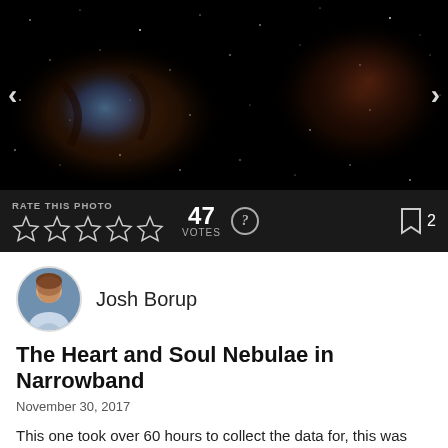[Figure (photo): Narrowband astrophotography image of the Heart and Soul Nebulae against a dark starfield, showing blue and brownish-red nebula clouds.]
RATE THIS PHOTO  47 VOTES  ? 2
Josh Borup
The Heart and Soul Nebulae in Narrowband
November 30, 2017
This one took over 60 hours to collect the data for, this was taken from my backyard near phoenix Arizona. I Used an 80mm Apo refractor and a CCD camera on an Orion Atlas mount which compensates for the earth's rotation allowing for long exposures of deep space objects. the sheer size of the original at 3.7gigs crashed my processing software quite a few times, but the final result was